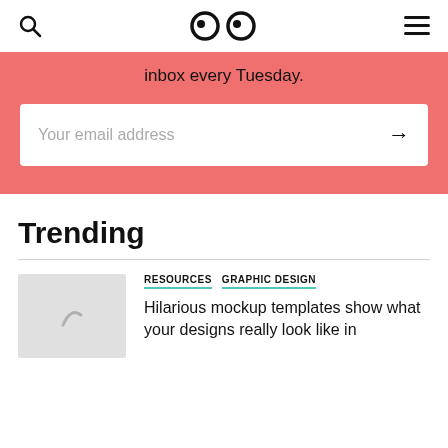Search | Logo (eyes) | Menu
inbox every Tuesday.
Your email address →
Trending
RESOURCES   GRAPHIC DESIGN
Hilarious mockup templates show what your designs really look like in